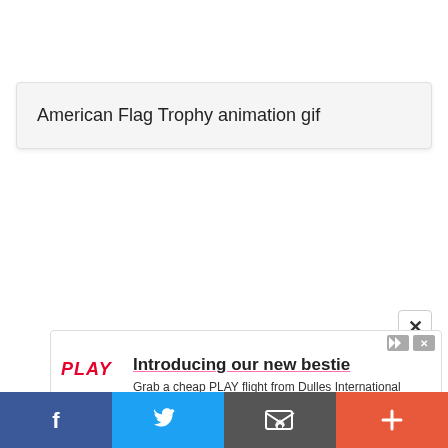American Flag Trophy animation gif
[Figure (screenshot): Advertisement for PLAY Airlines with headline 'Introducing our new bestie', body text 'Grab a cheap PLAY flight from Dulles International Airport, our new bestie', PLAY logo in red, PLAY Airline brand label, and Open button in red.]
[Figure (infographic): Bottom social sharing bar with Facebook (blue), Twitter (light blue), Email (dark grey), and More/Plus (orange-red) buttons.]